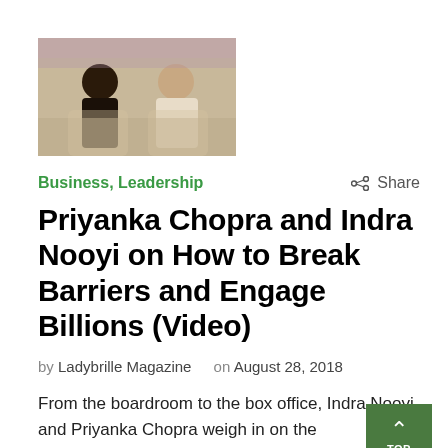[Figure (photo): Two women seated and talking in a TV-style interview setting with white chairs and a soft background.]
Business, Leadership
Share
Priyanka Chopra and Indra Nooyi on How to Break Barriers and Engage Billions (Video)
by Ladybrille Magazine on August 28, 2018
From the boardroom to the box office, Indra Nooyi and Priyanka Chopra weigh in on the extraordinary global communities they've built and the qualities that have fueled their success. Priyanka Chopra, Actress, Producer & Activist Indra Nooyi, Chairman & Chief Executive Officer, PepsiCo Interviewer: Moira